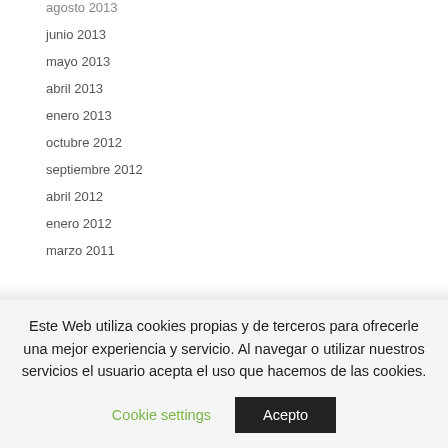agosto 2013
junio 2013
mayo 2013
abril 2013
enero 2013
octubre 2012
septiembre 2012
abril 2012
enero 2012
marzo 2011
Este Web utiliza cookies propias y de terceros para ofrecerle una mejor experiencia y servicio. Al navegar o utilizar nuestros servicios el usuario acepta el uso que hacemos de las cookies.
Cookie settings
Acepto